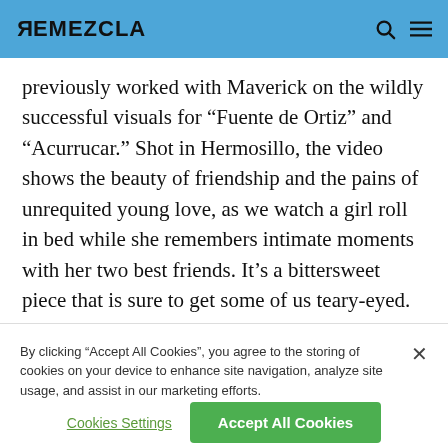REMEZCLA
previously worked with Maverick on the wildly successful visuals for “Fuente de Ortiz” and “Acurrucar.” Shot in Hermosillo, the video shows the beauty of friendship and the pains of unrequited young love, as we watch a girl roll in bed while she remembers intimate moments with her two best friends. It’s a bittersweet piece that is sure to get some of us teary-eyed.
By clicking “Accept All Cookies”, you agree to the storing of cookies on your device to enhance site navigation, analyze site usage, and assist in our marketing efforts.
Cookies Settings
Accept All Cookies